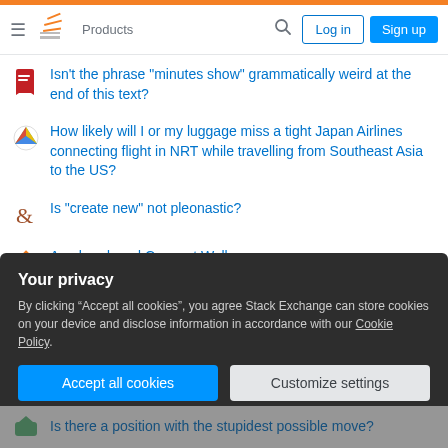Products | Log in | Sign up
Isn't the phrase "minutes show" grammatically weird at the end of this text?
How likely will I or my luggage miss a tight Japan Airlines connecting flight in NRT while travelling from Southeast Asia to the US?
Is "create new" not pleonastic?
An abandoned Connect Wall
Why does sort have an --output= option?
How can the universe evolve unitarily if there's no clock outside it?
Printing a c++ struct
"Best Practices" vs. user research
Your privacy
By clicking "Accept all cookies", you agree Stack Exchange can store cookies on your device and disclose information in accordance with our Cookie Policy.
Is there a position with the stupidest possible move?